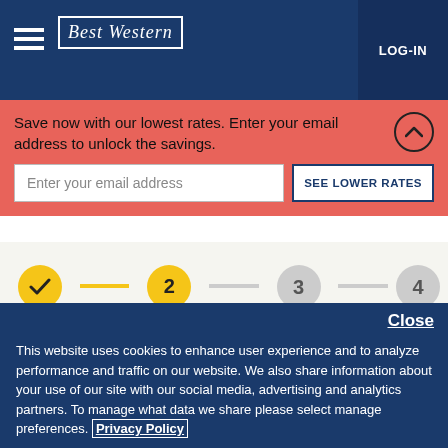Best Western | LOG-IN
Save now with our lowest rates. Enter your email address to unlock the savings.
Enter your email address | SEE LOWER RATES
[Figure (infographic): 4-step progress indicator: step 1 (checkmark, Choose Hotel), step 2 active (2, Hotel), step 3 (3, Select Room), step 4 (4, Pay)]
Best Western Plus Kamloops
Close
This website uses cookies to enhance user experience and to analyze performance and traffic on our website. We also share information about your use of our site with our social media, advertising and analytics partners. To manage what data we share please select manage preferences. Privacy Policy